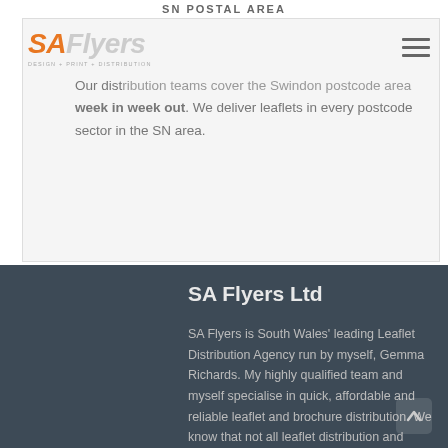SN POSTAL AREA
[Figure (logo): SA Flyers logo with orange SA and grey Flyers text, tagline design + print + distribution]
Our distribution teams cover the Swindon postcode area week in week out. We deliver leaflets in every postcode sector in the SN area.
SA Flyers Ltd
SA Flyers is South Wales' leading Leaflet Distribution Agency run by myself, Gemma Richards. My highly qualified team and myself specialise in quick, affordable and reliable leaflet and brochure distribution. We know that not all leaflet distribution and